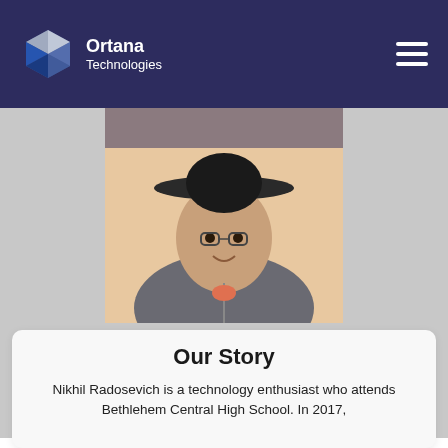Ortana Technologies
[Figure (photo): Photo of Nikhil Radosevich wearing a wide-brim hat and grey zip-up hoodie, with a peach/tan background]
Nikhil Radosevich - Founder
Our Story
Nikhil Radosevich is a technology enthusiast who attends Bethlehem Central High School. In 2017,